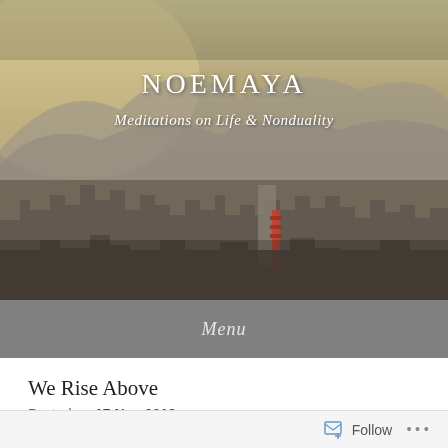[Figure (photo): Aerial cityscape photograph showing a dense urban area with mountains in the background, taken in hazy light. The city has numerous buildings spread across the valley with mountains visible in the distance.]
NOEMAYA
Meditations on Life & Nonduality
Menu
We Rise Above
Posted on 17 Nov 2018
Follow ...